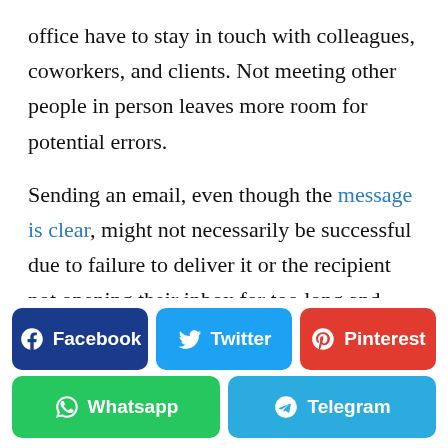office have to stay in touch with colleagues, coworkers, and clients. Not meeting other people in person leaves more room for potential errors.
Sending an email, even though the message is clear, might not necessarily be successful due to failure to deliver it or the recipient not opening their inbox for too long and checking if there is new mail for them.
[Figure (infographic): Social media share buttons: Facebook (dark blue), Twitter (light blue), Pinterest (red), Whatsapp (green), Telegram (sky blue)]